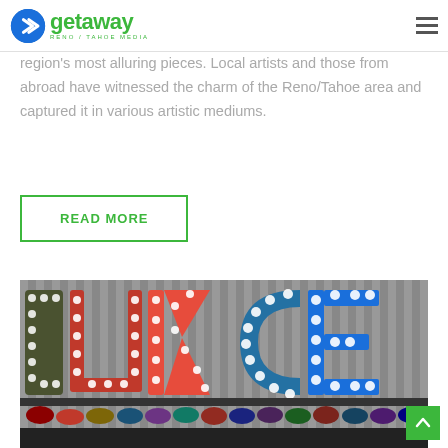getaway RENO / TAHOE MEDIA
region's most alluring pieces. Local artists and those from abroad have witnessed the charm of the Reno/Tahoe area and captured it in various artistic mediums.
READ MORE
[Figure (photo): Indoor display of large illuminated marquee letters (spelling out letters including K and C in blue) with light bulbs, alongside a rack of colorful high-heel shoes displayed below the letters in a retail or market setting.]